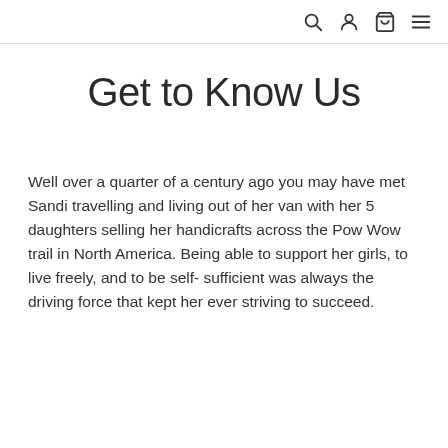navigation icons: search, account, cart, menu
Get to Know Us
Well over a quarter of a century ago you may have met Sandi travelling and living out of her van with her 5 daughters selling her handicrafts across the Pow Wow trail in North America. Being able to support her girls, to live freely, and to be self- sufficient was always the driving force that kept her ever striving to succeed.